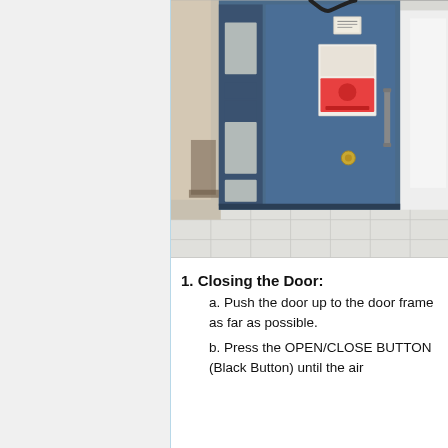[Figure (photo): A large blue heavy-duty door (likely a radiation or pressure shielding door) mounted in a room with white tile flooring. The door has a vertical sidelight with translucent panels, a handle on the right side, two gold circular fasteners, a small sign/placard on the front, and cables running above it.]
1. Closing the Door:
a. Push the door up to the door frame as far as possible.
b. Press the OPEN/CLOSE BUTTON (Black Button) until the air